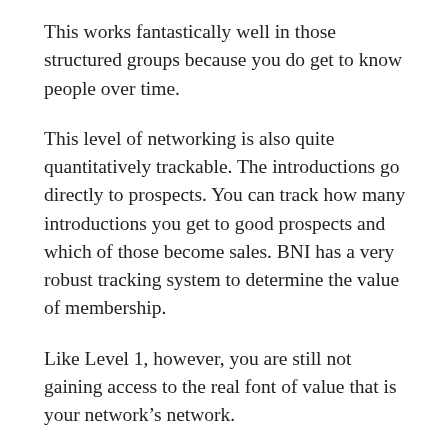This works fantastically well in those structured groups because you do get to know people over time.
This level of networking is also quite quantitatively trackable. The introductions go directly to prospects. You can track how many introductions you get to good prospects and which of those become sales. BNI has a very robust tracking system to determine the value of membership.
Like Level 1, however, you are still not gaining access to the real font of value that is your network's network.